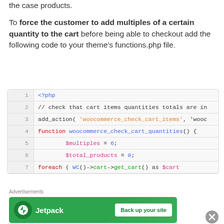the case products.
To force the customer to add multiples of a certain quantity to the cart before being able to checkout add the following code to your theme's functions.php file.
[Figure (screenshot): PHP code block showing lines 1-7 of a WooCommerce function to check cart quantities: <?php, // check that cart items quantities totals are in, add_action( 'woocommerce_check_cart_items', 'wooc, function woocommerce_check_cart_quantities() {, $multiples = 6;, $total_products = 0;, foreach ( WC()->cart->get_cart() as $cart]
Advertisements
[Figure (other): Jetpack advertisement banner: Back up your site]